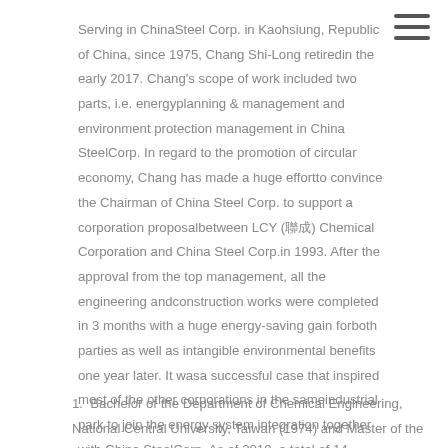Serving in ChinaSteel Corp. in Kaohsiung, Republic of China, since 1975, Chang Shi-Long retiredin the early 2017. Chang's scope of work included two parts, i.e. energyplanning & management and environment protection management in China SteelCorp. In regard to the promotion of circular economy, Chang has made a huge effortto convince the Chairman of China Steel Corp. to support a corporation proposalbetween LCY (聯成) Chemical Corporation and China Steel Corp.in 1993. After the approval from the top management, all the engineering andconstruction works were completed in 3 months with a huge energy-saving gain forboth parties as well as intangible environmental benefits one year later. It wasa successful case that inspired most of the other corporations in the sameindustrial park to join the energy system integration together with China SteelCorp. As of 2019, a total of 14 partners have been collaborating with China Steelin satisfaction.
1. Bachelor of the Department of Chemical Engineering, National Central University, Taiwan (1974) and Master of the